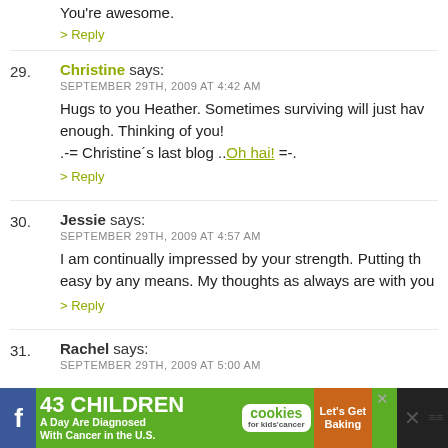You're awesome.
> Reply
29. Christine says: SEPTEMBER 29TH, 2009 AT 4:42 AM — Hugs to you Heather. Sometimes surviving will just have to be enough. Thinking of you! .-= Christine's last blog ..Oh hai! =-.
> Reply
30. Jessie says: SEPTEMBER 29TH, 2009 AT 4:57 AM — I am continually impressed by your strength. Putting th... easy by any means. My thoughts as always are with you...
> Reply
31. Rachel says: SEPTEMBER 29TH, 2009 AT 5:00 AM
[Figure (screenshot): Green advertisement banner: '43 CHILDREN A Day Are Diagnosed With Cancer in the U.S.' with cookies for kids' cancer logo and Let's Get Baking button]